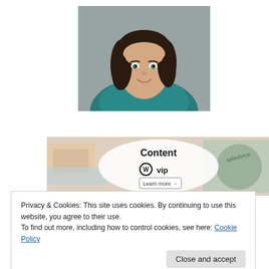[Figure (photo): Headshot photo of a woman with dark wavy hair, wearing a teal top, smiling at the camera.]
[Figure (infographic): Content VIP advertisement banner with WordPress logo and 'Learn more' button, on a background of colorful flat lay items.]
Privacy & Cookies: This site uses cookies. By continuing to use this website, you agree to their use.
To find out more, including how to control cookies, see here: Cookie Policy
Close and accept